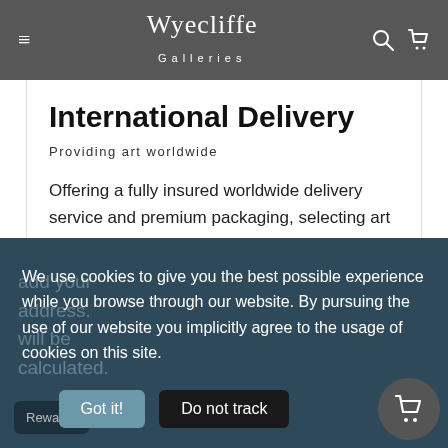Wyecliffe Galleries
International Delivery
Providing art worldwide
Offering a fully insured worldwide delivery service and premium packaging, selecting art with Wyecliffe is easier than ever.
We use cookies to give you the best possible experience while you browse through our website. By pursuing the use of our website you implicitly agree to the usage of cookies on this site.
Got it!  Do not track